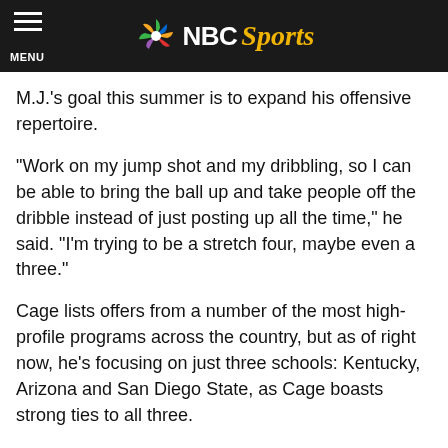NBC Sports
M.J.'s goal this summer is to expand his offensive repertoire.
“Work on my jump shot and my dribbling, so I can be able to bring the ball up and take people off the dribble instead of just posting up all the time,” he said. “I’m trying to be a stretch four, maybe even a three.”
Cage lists offers from a number of the most high-profile programs across the country, but as of right now, he’s focusing on just three schools: Kentucky, Arizona and San Diego State, as Cage boasts strong ties to all three.
Cage’s father played his college ball at SDSU. “I go up there because my dad went there,” Cage said. “I like their crowd.” He’s also quick to point out that his father hasn’t started pushing him in the direction of the Aztecs ... yet. “He probably secretly wants me to go there,” he said